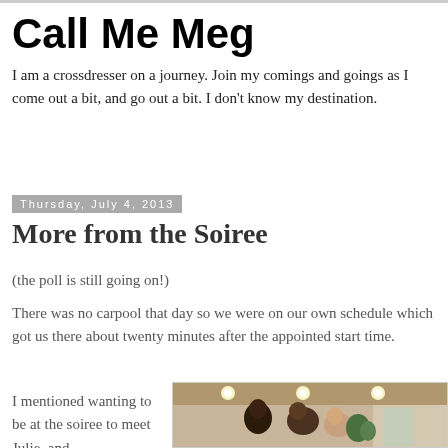Call Me Meg
I am a crossdresser on a journey. Join my comings and goings as I come out a bit, and go out a bit. I don't know my destination.
Thursday, July 4, 2013
More from the Soiree
(the poll is still going on!)
There was no carpool that day so we were on our own schedule which got us there about twenty minutes after the appointed start time.
I mentioned wanting to be at the soiree to meet Julie, and
[Figure (photo): Indoor party scene showing people at a soiree with recessed ceiling lights visible in the background.]